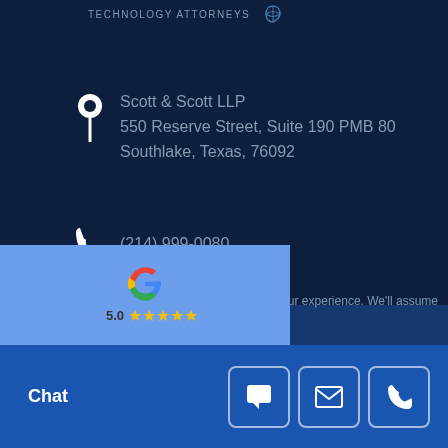TECHNOLOGY ATTORNEYS
Scott & Scott LLP
550 Reserve Street, Suite 190 PMB 80
Southlake, Texas, 76092
(214) 999-0080
rjscott@scottandscottllp.com
[Figure (screenshot): Google review widget showing Google logo and 5-star rating, partially visible]
rove your experience. We'll assume
Chat